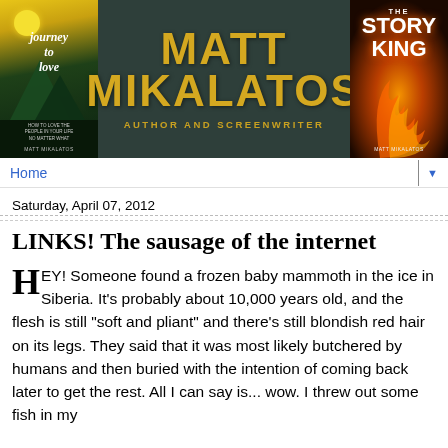[Figure (illustration): Matt Mikalatos author and screenwriter website banner with dark green background, gold text showing 'MATT MIKALATOS AUTHOR AND SCREENWRITER', book cover 'Journey to Love' on left, book cover 'The Story King' on right]
Home
Saturday, April 07, 2012
LINKS! The sausage of the internet
HEY! Someone found a frozen baby mammoth in the ice in Siberia. It's probably about 10,000 years old, and the flesh is still "soft and pliant" and there's still blondish red hair on its legs. They said that it was most likely butchered by humans and then buried with the intention of coming back later to get the rest. All I can say is... wow. I threw out some fish in my